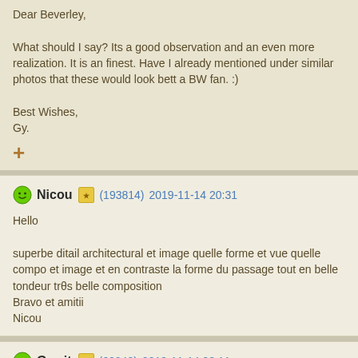Dear Beverley,

What should I say? Its a good observation and an even more realization. It is an finest. Have I already mentioned under similar photos that these would look bett a BW fan. :)

Best Wishes,
Gy.
Nicou (193814) 2019-11-14 20:31

Hello

superbe ditail architectural et image quelle forme et vue quelle compo et image et en contraste la forme du passage tout en belle tondeur tr0s belle composition
Bravo et amitii
Nicou
Gerrit (62042) 2019-11-14 22:11

Hello Beverley,
Quite complicating building. At the first sight I didn't understand this ceiling at o
Good composition.
Thanks and regards.
Gerrit